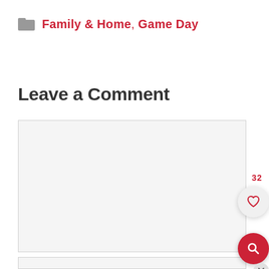Family & Home, Game Day
Leave a Comment
[Figure (other): Comment textarea input box (empty, light gray background)]
[Figure (other): Floating action buttons on right side: scroll-to-top chevron button, heart/like button with count 32, red search button, and close button]
[Figure (other): Bottom text input field (light gray, partially visible)]